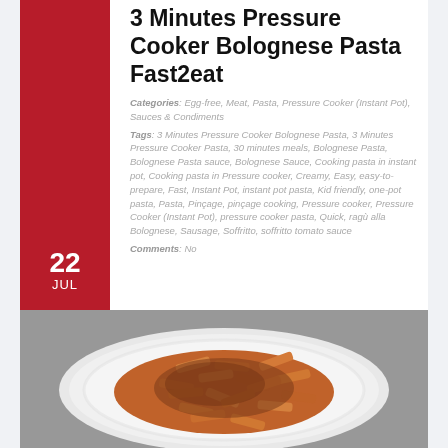3 Minutes Pressure Cooker Bolognese Pasta Fast2eat
Categories: Egg-free, Meat, Pasta, Pressure Cooker (Instant Pot), Sauces & Condiments
Tags: 3 Minutes Pressure Cooker Bolognese Pasta, 3 Minutes Pressure Cooker Pasta, 30 minutes meals, Bolognese Pasta, Bolognese Pasta sauce, Bolognese Sauce, Cooking pasta in instant pot, Cooking pasta in Pressure cooker, Creamy, Easy, easy-to-prepare, Fast, Instant Pot, instant pot pasta, Kid friendly, one-pot pasta, Pasta, Pinçage, pinçage cooking, Pressure cooker, Pressure Cooker (Instant Pot), pressure cooker pasta, Quick, ragù alla Bolognese, Sausage, Soffritto, soffritto tomato sauce
Comments: No
[Figure (photo): A plate of penne pasta with Bolognese meat sauce on a white plate, photographed from above on a textured surface.]